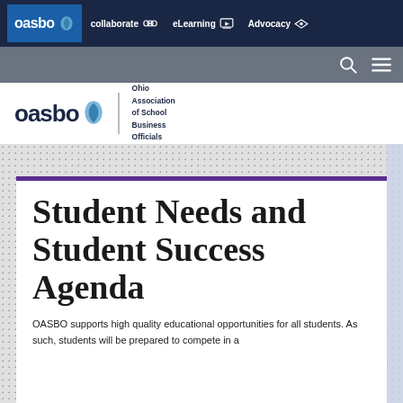oasbo | collaborate | eLearning | Advocacy
[Figure (logo): OASBO logo with Ohio Association of School Business Officials text]
Student Needs and Student Success Agenda
OASBO supports high quality educational opportunities for all students. As such, students will be prepared to compete in a